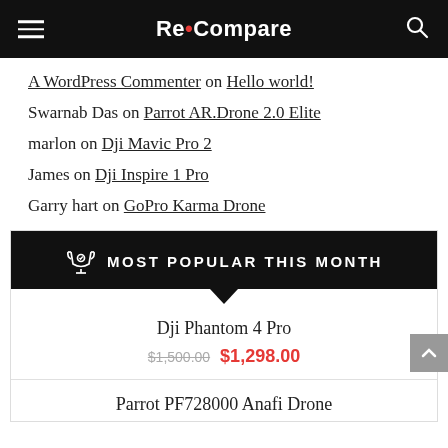Re•Compare
A WordPress Commenter on Hello world!
Swarnab Das on Parrot AR.Drone 2.0 Elite
marlon on Dji Mavic Pro 2
James on Dji Inspire 1 Pro
Garry hart on GoPro Karma Drone
MOST POPULAR THIS MONTH
Dji Phantom 4 Pro
$1,500.00  $1,298.00
Parrot PF728000 Anafi Drone